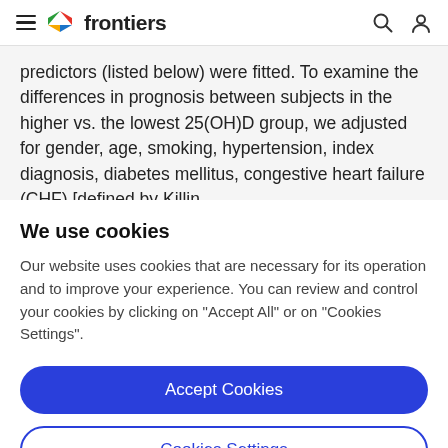frontiers (navigation bar with hamburger menu, logo, search and user icons)
predictors (listed below) were fitted. To examine the differences in prognosis between subjects in the higher vs. the lowest 25(OH)D group, we adjusted for gender, age, smoking, hypertension, index diagnosis, diabetes mellitus, congestive heart failure (CHF) [defined by Killin
We use cookies
Our website uses cookies that are necessary for its operation and to improve your experience. You can review and control your cookies by clicking on "Accept All" or on "Cookies Settings".
Accept Cookies
Cookies Settings